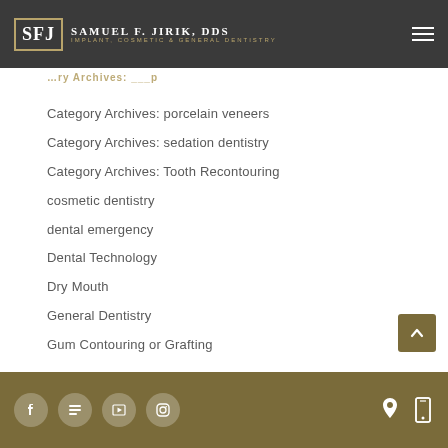SFJ Samuel F. Jirik, DDS — Implant, Cosmetic & General Dentistry
Category Archives: porcelain veneers
Category Archives: sedation dentistry
Category Archives: Tooth Recontouring
cosmetic dentistry
dental emergency
Dental Technology
Dry Mouth
General Dentistry
Gum Contouring or Grafting
Social media icons (Facebook, Google+, YouTube, Instagram) and contact/mobile icons